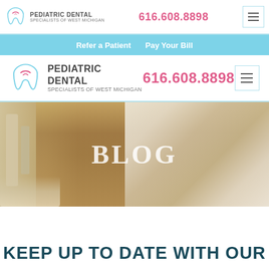PEDIATRIC DENTAL SPECIALISTS OF WEST MICHIGAN | 616.608.8898
Refer a Patient   Pay Your Bill
PEDIATRIC DENTAL SPECIALISTS OF WEST MICHIGAN | 616.608.8898
[Figure (photo): A female dentist in a white lab coat and face mask leaning over a patient in a dental office. Dental equipment visible on the left side. Text overlay reads BLOG.]
KEEP UP TO DATE WITH OUR